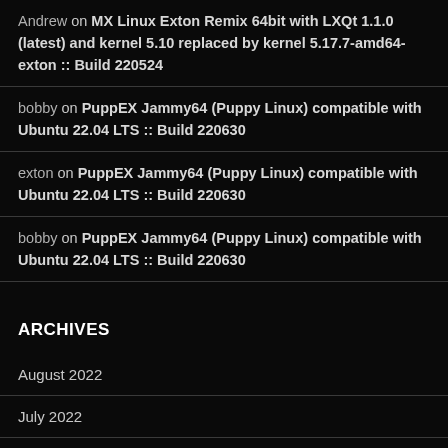Andrew on MX Linux Exton Remix 64bit with LXQt 1.1.0 (latest) and kernel 5.10 replaced by kernel 5.17.7-amd64-exton :: Build 220524
bobby on PuppEX Jammy64 (Puppy Linux) compatible with Ubuntu 22.04 LTS :: Build 220630
exton on PuppEX Jammy64 (Puppy Linux) compatible with Ubuntu 22.04 LTS :: Build 220630
bobby on PuppEX Jammy64 (Puppy Linux) compatible with Ubuntu 22.04 LTS :: Build 220630
ARCHIVES
August 2022
July 2022
June 2022
May 2022